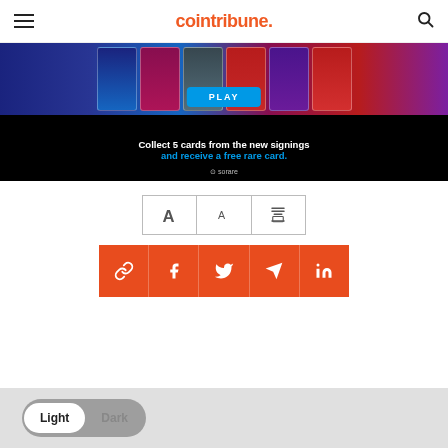cointribune.
[Figure (photo): Sorare fantasy football game banner showing football player cards in blue and red colors, with a PLAY button and text 'Collect 5 cards from the new signings and receive a free rare card.' with Sorare logo at bottom.]
[Figure (infographic): Three font/print control buttons: large A, small A, and a print icon, arranged in a row with borders.]
[Figure (infographic): Five orange social sharing buttons: link/copy, Facebook, Twitter, Telegram, LinkedIn.]
[Figure (infographic): Light/Dark mode toggle pill with Light selected (white) and Dark unselected (gray).]